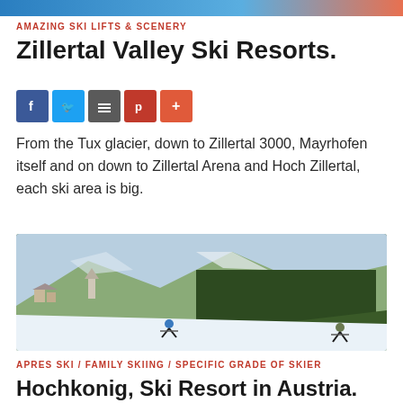AMAZING SKI LIFTS & SCENERY
Zillertal Valley Ski Resorts.
[Figure (infographic): Social sharing buttons: Facebook (blue), Twitter (light blue), Google+ (grey), Pinterest (red), More (orange-red)]
From the Tux glacier, down to Zillertal 3000, Mayrhofen itself and on down to Zillertal Arena and Hoch Zillertal, each ski area is big.
[Figure (photo): Winter ski resort photo showing snow-covered alpine landscape with skiers on slopes, pine trees and a village in the background under a bright sky.]
APRES SKI / FAMILY SKIING / SPECIFIC GRADE OF SKIER
Hochkonig, Ski Resort in Austria.